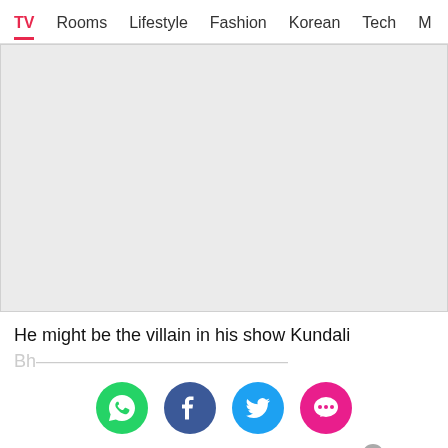TV  Rooms  Lifestyle  Fashion  Korean  Tech  M…
[Figure (other): Large grey advertisement placeholder area]
He might be the villain in his show Kundali Bh…
[Figure (infographic): Social share icons: WhatsApp (green), Facebook (blue), Twitter (light blue), messaging/chat (pink/red)]
actor Poonam Preet, he has been all game for surprises for his lady love. Sanjay booked a hilltop